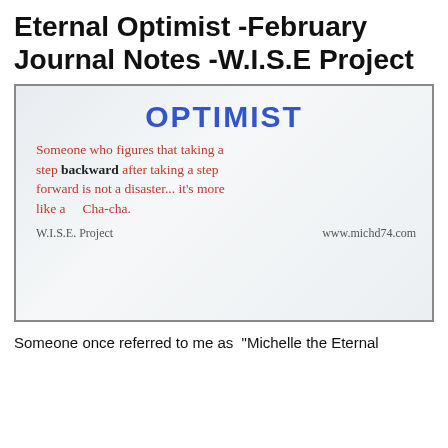Eternal Optimist -February Journal Notes -W.I.S.E Project
[Figure (photo): Photo of a whiteboard with the word OPTIMIST written in blue at the top, and below in red handwriting: 'Someone who figures that taking a step backward after taking a step forward is not a disaster... it's more like a Cha-cha.' At the bottom: 'W.I.S.E. Project   www.michd74.com']
Someone once referred to me as “Michelle the Eternal